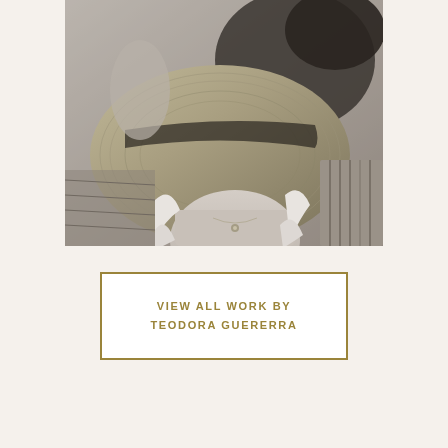[Figure (photo): Black and white photograph of a woman lying down, wearing a straw boater hat that partially obscures her face, dressed in a white ruffled sleeveless top with a delicate necklace visible at her chest.]
VIEW ALL WORK BY TEODORA GUERERRA